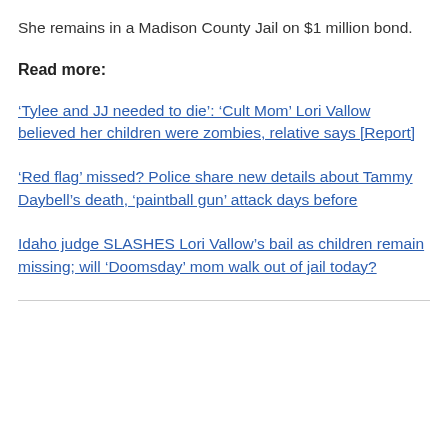She remains in a Madison County Jail on $1 million bond.
Read more:
‘Tylee and JJ needed to die’: ‘Cult Mom’ Lori Vallow believed her children were zombies, relative says [Report]
‘Red flag’ missed? Police share new details about Tammy Daybell’s death, ‘paintball gun’ attack days before
Idaho judge SLASHES Lori Vallow’s bail as children remain missing; will ‘Doomsday’ mom walk out of jail today?